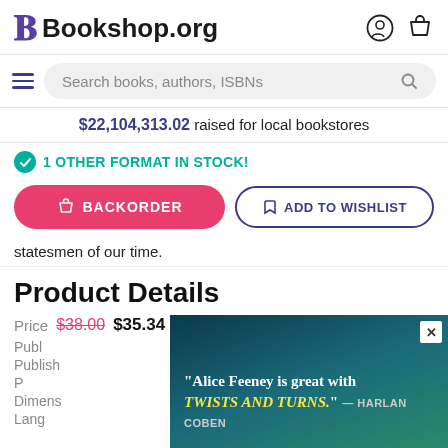Bookshop.org
Search books, authors, ISBNs
$22,104,313.02 raised for local bookstores
1 OTHER FORMAT IN STOCK!
BACKORDER
ADD TO WISHLIST
statesmen of our time.
Product Details
Price $38.00 $35.34
Publ
Publish
P
Dimens
Lang
[Figure (screenshot): Advertisement overlay showing a dark teal/ocean background with quote: "Alice Feeney is great with TWISTS AND TURNS." — HARLAN COBEN, with a close button (X) in top right corner]